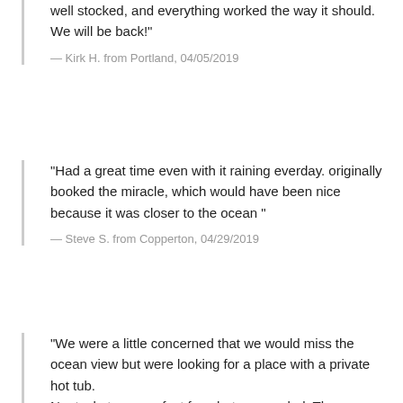well stocked, and everything worked the way it should. We will be back!"
— Kirk H. from Portland, 04/05/2019
"Had a great time even with it raining everday. originally booked the miracle, which would have been nice because it was closer to the ocean "
— Steve S. from Copperton, 04/29/2019
"We were a little concerned that we would miss the ocean view but were looking for a place with a private hot tub. Nantucket was perfect for what we needed. The weather was overcast so we took full advantage of the hot tub and fireplace. the kitchen was nicely